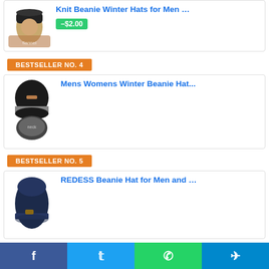[Figure (photo): Product image: man wearing a knit beanie hat, with a discount badge showing -$2.00]
Knit Beanie Winter Hats for Men …
-$2.00
BESTSELLER NO. 4
[Figure (photo): Product image: black beanie hat and neck warmer set (Mens Womens Winter Beanie Hat)]
Mens Womens Winter Beanie Hat...
BESTSELLER NO. 5
[Figure (photo): Product image: navy blue slouchy beanie hat (REDESS Beanie Hat for Men and ...)]
REDESS Beanie Hat for Men and ...
Related articles:
Top 10 Best Hard Shell Roof Top Cargo ...